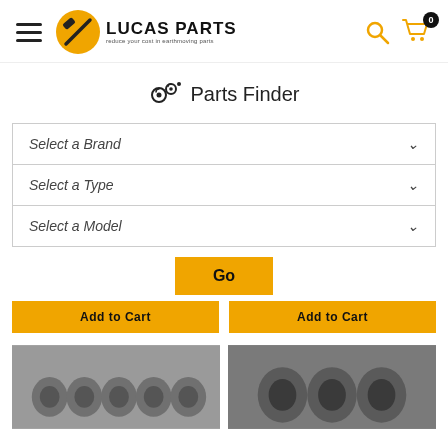Lucas Parts — reduce your cost in earthmoving parts
Parts Finder
Select a Brand
Select a Type
Select a Model
Go
Add to Cart
Add to Cart
[Figure (photo): Metal cylindrical bushings/pins photographed from an angle showing hollow ends, gray metallic finish]
[Figure (photo): Metal cylindrical bushings/sleeves photographed showing hollow ends, dark gray metallic finish, three pieces visible]